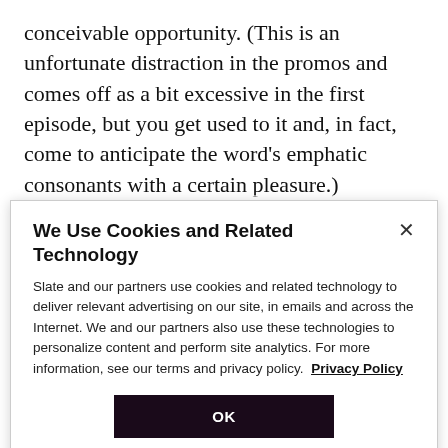conceivable opportunity. (This is an unfortunate distraction in the promos and comes off as a bit excessive in the first episode, but you get used to it and, in fact, come to anticipate the word's emphatic consonants with a certain pleasure.) McShane, a dashing, hawk-faced English actor who's made a career as a villain in B-movies and miniseries, is a strange actor to choose if verisimilitude is what you're after, as his idea of realism is hitting all your emotional beats as hard as
We Use Cookies and Related Technology
Slate and our partners use cookies and related technology to deliver relevant advertising on our site, in emails and across the Internet. We and our partners also use these technologies to personalize content and perform site analytics. For more information, see our terms and privacy policy. Privacy Policy
OK